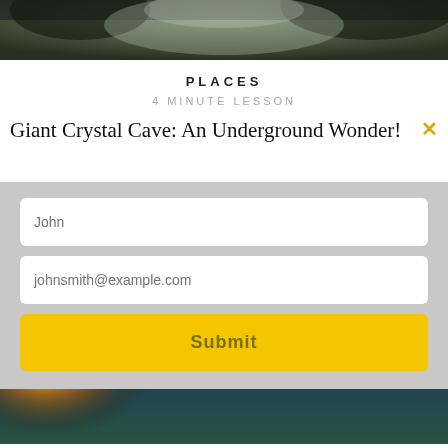[Figure (photo): Top strip showing a forested or cave environment, dark greenish tones with rock formations in background]
PLACES
4 MINUTE LESSON
Giant Crystal Cave: An Underground Wonder!
[Figure (screenshot): Modal sign-up form with light gray background containing a name input field (placeholder: John), an email input field (placeholder: johnsmith@example.com), and a yellow Submit button]
[Figure (photo): Space photograph showing the curved horizon of Earth from orbit with a bright sunrise/sunburst on the left, blue atmospheric glow, and dark space background]